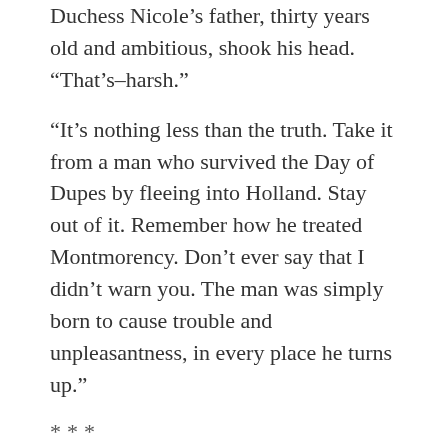Duchess Nicole's father, thirty years old and ambitious, shook his head. “That’s–harsh.”
“It’s nothing less than the truth. Take it from a man who survived the Day of Dupes by fleeing into Holland. Stay out of it. Remember how he treated Montmorency. Don’t ever say that I didn’t warn you. The man was simply born to cause trouble and unpleasantness, in every place he turns up.”
***
Charles IV of Lorraine refused to even lodge a diplomatic protest in regard to the Irish dragoons’ transit through Lorraine. He then left Brussels for a long ride in the countryside, the goal of which was the mansion to which his current lady-love’s mother had removed her in